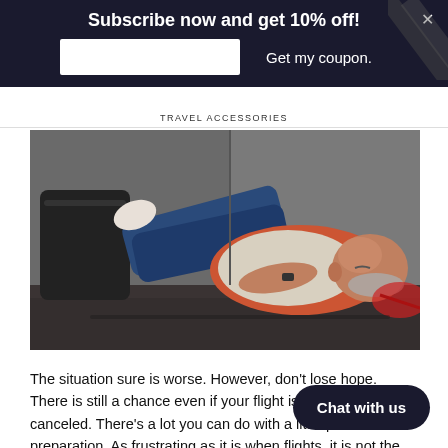Subscribe now and get 10% off!
Get my coupon.
TRAVEL ACCESSORIES
[Figure (photo): An older bald man with a beard lying on the floor of what appears to be an airport terminal, wearing a red shirt and jeans, with his legs propped up on luggage, resting/sleeping]
The situation sure is worse. However, don't lose hope. There is still a chance even if your flight is delayed or canceled. There's a lot you can do with a little patience and preparation. As frustrating as it is when flights, it is not the fault of your gate age the airline's customer service representative either.